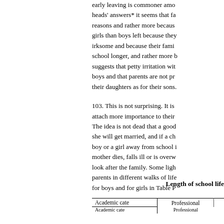early leaving is commoner amo... heads' answers* it seems that fa... reasons and rather more becaus... girls than boys left because they... irksome and because their fami... school longer, and rather more b... suggests that petty irritation wit... boys and that parents are not pr... their daughters as for their sons.
103. This is not surprising. It is... attach more importance to their... The idea is not dead that a good... she will get married, and if a ch... boy or a girl away from school i... mother dies, falls ill or is overw... look after the family. Some ligh... parents in different walks of life... for boys and for girls in Table P...
Length of school life
| Academic cate | Professional |
| --- | --- |